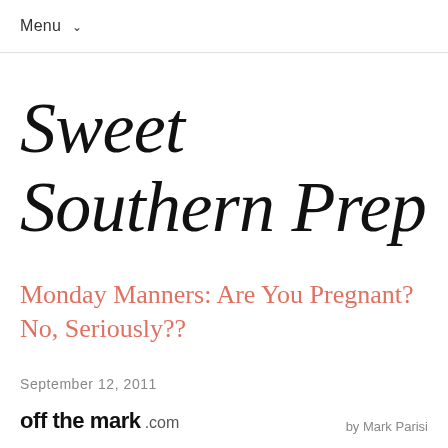Menu ∨
Sweet Southern Prep
Monday Manners: Are You Pregnant? No, Seriously??
September 12, 2011
off the mark .com   by Mark Parisi